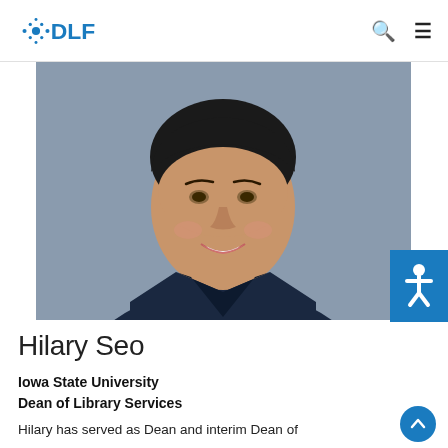DLF
[Figure (photo): Professional headshot of Hilary Seo, a woman with short dark hair, smiling, wearing a dark navy blazer against a grey-blue background.]
Hilary Seo
Iowa State University
Dean of Library Services
Hilary has served as Dean and interim Dean of